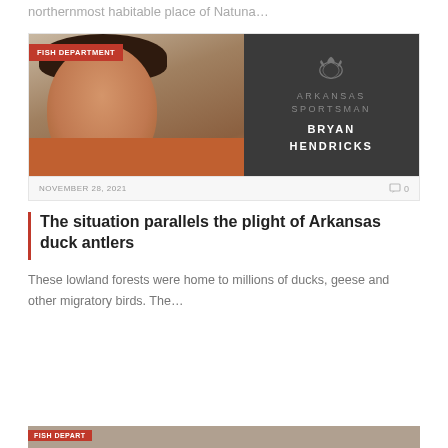northernmost habitable place of Natuna…
[Figure (photo): Portrait photo of a man smiling, wearing an orange shirt, combined with a dark gray panel showing the Arkansas Sportsman logo and name Bryan Hendricks]
FISH DEPARTMENT
NOVEMBER 28, 2021
0
The situation parallels the plight of Arkansas duck antlers
These lowland forests were home to millions of ducks, geese and other migratory birds. The…